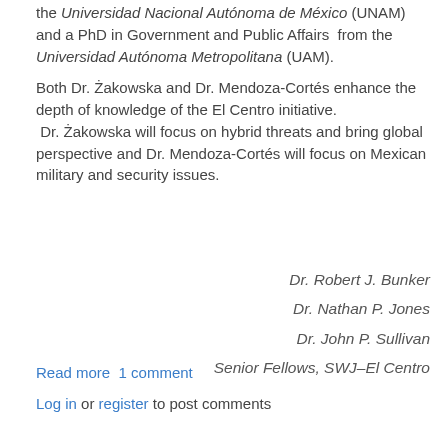the Universidad Nacional Autónoma de México (UNAM) and a PhD in Government and Public Affairs  from the Universidad Autónoma Metropolitana (UAM).
Both Dr. Żakowska and Dr. Mendoza-Cortés enhance the depth of knowledge of the El Centro initiative.  Dr. Żakowska will focus on hybrid threats and bring global perspective and Dr. Mendoza-Cortés will focus on Mexican military and security issues.
Dr. Robert J. Bunker
Dr. Nathan P. Jones
Dr. John P. Sullivan
Senior Fellows, SWJ–El Centro
Read more   1 comment
Log in or register to post comments